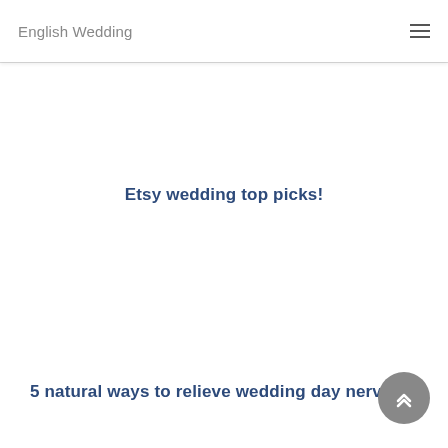English Wedding
Etsy wedding top picks!
5 natural ways to relieve wedding day nerves